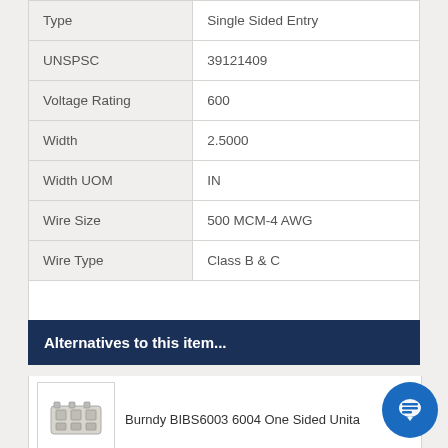| Property | Value |
| --- | --- |
| Type | Single Sided Entry |
| UNSPSC | 39121409 |
| Voltage Rating | 600 |
| Width | 2.5000 |
| Width UOM | IN |
| Wire Size | 500 MCM-4 AWG |
| Wire Type | Class B & C |
|  |  |
Alternatives to this item...
Burndy BIBS6003 6004 One Sided Unita
[Figure (photo): Photo of a metal electrical connector block (Burndy product)]